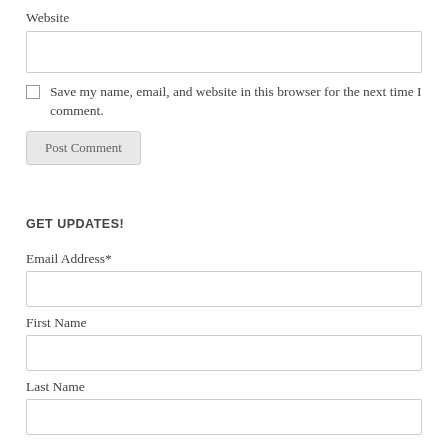Website
Save my name, email, and website in this browser for the next time I comment.
Post Comment
GET UPDATES!
Email Address*
First Name
Last Name